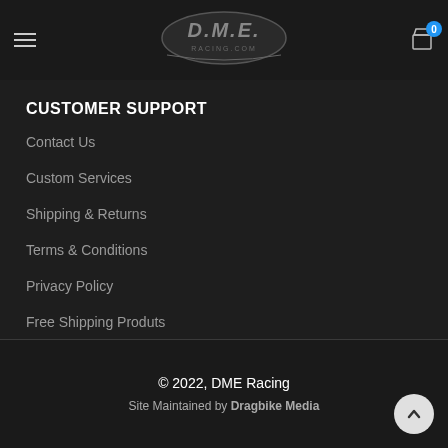[Figure (logo): DME Racing logo - oval shaped logo with D.M.E. text and RACING.COM below]
CUSTOMER SUPPORT
Contact Us
Custom Services
Shipping & Returns
Terms & Conditions
Privacy Policy
Free Shipping Produts
© 2022, DME Racing
Site Maintained by Dragbike Media